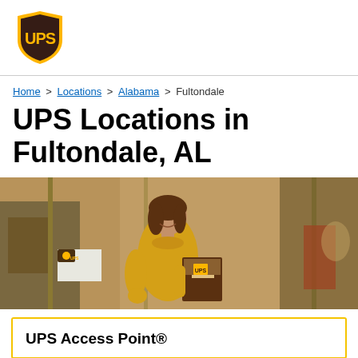UPS logo
Home > Locations > Alabama > Fultondale
UPS Locations in Fultondale, AL
[Figure (photo): Woman in yellow turtleneck sweater holding a UPS package box, standing in front of a shop window displaying antiques and collectibles.]
UPS Access Point®